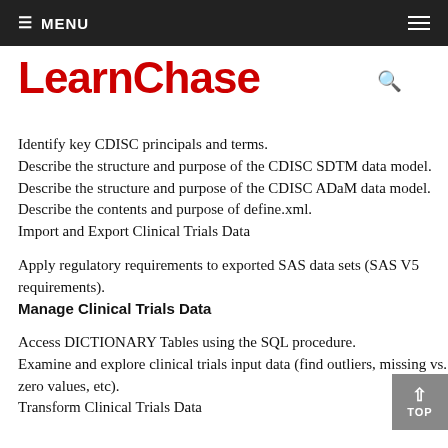MENU
LearnChase
Identify key CDISC principals and terms.
Describe the structure and purpose of the CDISC SDTM data model.
Describe the structure and purpose of the CDISC ADaM data model.
Describe the contents and purpose of define.xml.
Import and Export Clinical Trials Data
Apply regulatory requirements to exported SAS data sets (SAS V5 requirements).
Manage Clinical Trials Data
Access DICTIONARY Tables using the SQL procedure.
Examine and explore clinical trials input data (find outliers, missing vs. zero values, etc).
Transform Clinical Trials Data